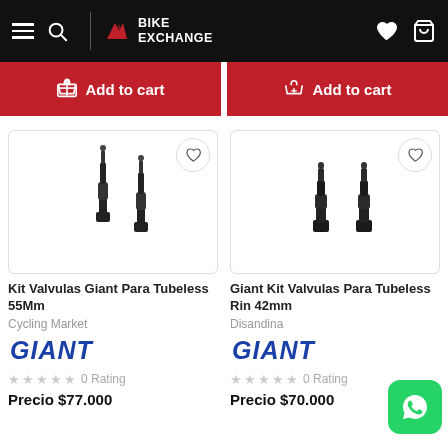[Figure (screenshot): BikeExchange website header with hamburger menu, search icon, BikeExchange logo, heart and cart icons on black background]
[Figure (screenshot): Two red 'Add to cart' buttons side by side]
[Figure (photo): Kit Valvulas Giant Para Tubeless 55Mm product image showing two black tubeless valves]
Kit Valvulas Giant Para Tubeless 55Mm
Cycling Market
[Figure (logo): Giant brand logo in italic blue text]
0 Rating
Precio $77.000
[Figure (photo): Giant Kit Valvulas Para Tubeless Rin 42mm product image showing two black tubeless valves]
Giant Kit Valvulas Para Tubeless Rin 42mm
Disandina
[Figure (logo): Giant brand logo in italic blue text]
0 Rating
Precio $70.000